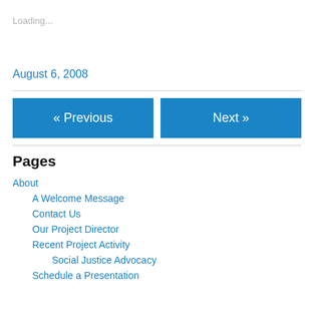Loading...
August 6, 2008
« Previous
Next »
Pages
About
A Welcome Message
Contact Us
Our Project Director
Recent Project Activity
Social Justice Advocacy
Schedule a Presentation